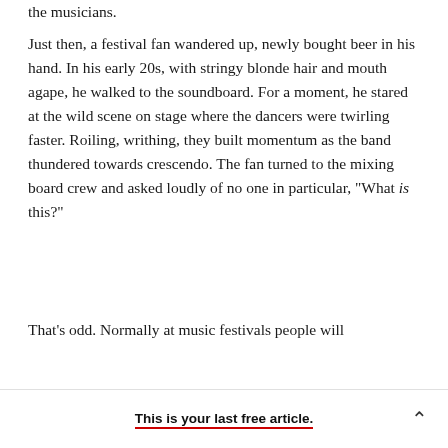the musicians.
Just then, a festival fan wandered up, newly bought beer in his hand. In his early 20s, with stringy blonde hair and mouth agape, he walked to the soundboard. For a moment, he stared at the wild scene on stage where the dancers were twirling faster. Roiling, writhing, they built momentum as the band thundered towards crescendo. The fan turned to the mixing board crew and asked loudly of no one in particular, "What is this?"
That's odd. Normally at music festivals people will
This is your last free article.